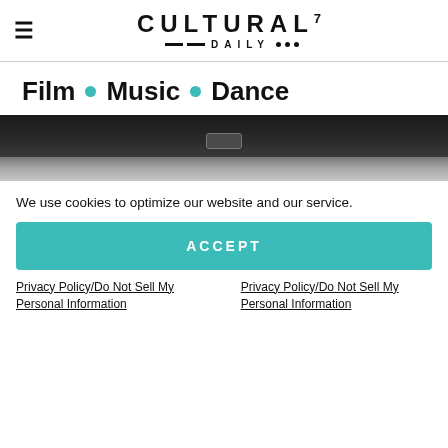≡ CULTURAL7 —·—·DAILY•••
Film • Music • Dance
[Figure (photo): Close-up photo of the top edge of a flat-screen TV or monitor, showing a dark bezel and a small camera or sensor in the center.]
We use cookies to optimize our website and our service.
ACCEPT
Privacy Policy/Do Not Sell My Personal Information
Privacy Policy/Do Not Sell My Personal Information